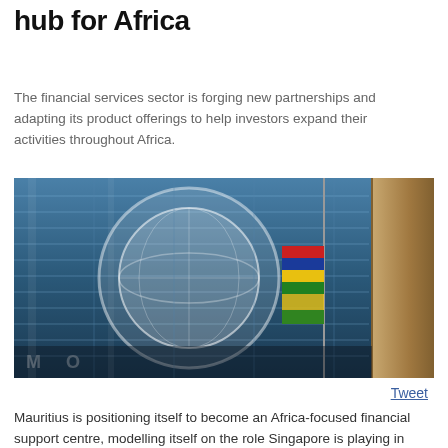hub for Africa
The financial services sector is forging new partnerships and adapting its product offerings to help investors expand their activities throughout Africa.
[Figure (photo): Exterior of a modern glass-facade building with a large globe/circular logo visible on the curved glass front. A Mauritius flag is flying on the right side of the building. A stone pillar is visible on the far right.]
Tweet
Mauritius is positioning itself to become an Africa-focused financial support centre, modelling itself on the role Singapore is playing in Southeast Asia.